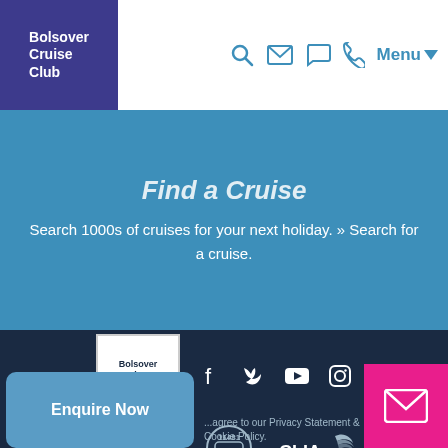Bolsover Cruise Club — Navigation header with logo, search, email, chat, phone icons, and Menu button
Find a Cruise
Search 1000s of cruises for your next holiday. » Search for a cruise.
[Figure (logo): Bolsover Cruise Club logo (white text on dark background) with Facebook, Twitter, YouTube, Instagram social icons]
[Figure (logo): ABTA logo (ABTA No. 13835 / 19663), ATOL Protected 11481 badge, CLIA logo]
...agree to our Privacy Statement & Cookie Policy.
Enquire Now button and email contact button